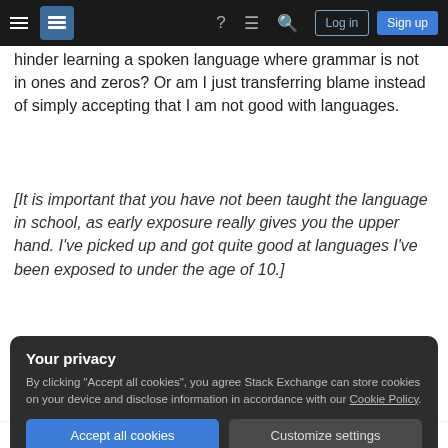Stack Exchange navigation bar with hamburger menu, logo, help, chat, search icons, Log in and Sign up buttons
hinder learning a spoken language where grammar is not in ones and zeros? Or am I just transferring blame instead of simply accepting that I am not good with languages.
[It is important that you have not been taught the language in school, as early exposure really gives you the upper hand. I've picked up and got quite good at languages I've been exposed to under the age of 10.]
spoken-languages
Your privacy
By clicking "Accept all cookies", you agree Stack Exchange can store cookies on your device and disclose information in accordance with our Cookie Policy.
Accept all cookies  Customize settings
7  Most of us have a hard enough time communicating in